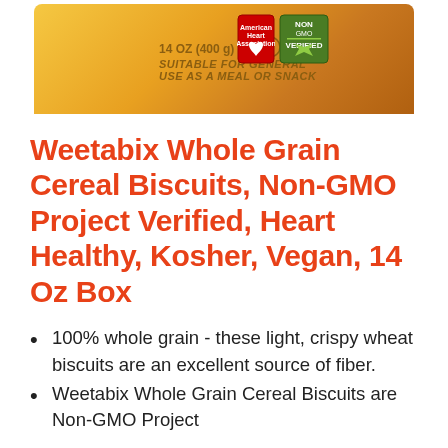[Figure (photo): Product package image of Weetabix Whole Grain Cereal Biscuits box showing 14 OZ (400g) label, kosher certification symbol, American Heart Association heart-check badge, and Non-GMO Project Verified badge on a yellow-orange gradient background.]
Weetabix Whole Grain Cereal Biscuits, Non-GMO Project Verified, Heart Healthy, Kosher, Vegan, 14 Oz Box
100% whole grain - these light, crispy wheat biscuits are an excellent source of fiber.
Weetabix Whole Grain Cereal Biscuits are Non-GMO Project certified.